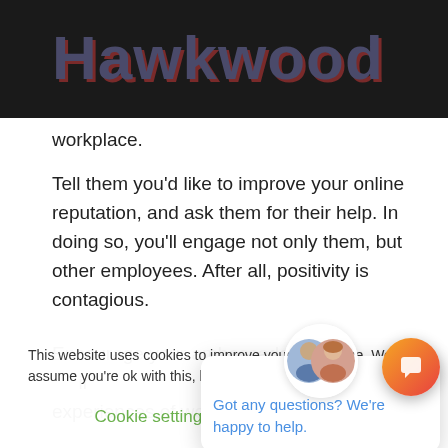Hawkwood
workplace.
Tell them you'd like to improve your online reputation, and ask them for their help. In doing so, you'll engage not only them, but other employees. After all, positivity is contagious.
Encourage your ambassadors to share their experiences of working… media, through video…
This website uses cookies to improve your experience. We'll assume you're ok with this, but you can opt-out if you…
[Figure (screenshot): Chat popup with two avatar photos and text 'Got any questions? We're happy to help.' with a close button]
Cookie settings   ACCEPT